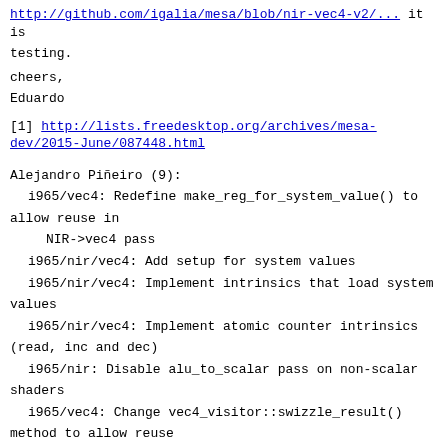http://github.com/igalia/mesa/... it is testing.
cheers,
Eduardo
[1] http://lists.freedesktop.org/archives/mesa-dev/2015-June/087448.html
Alejandro Piñeiro (9):
  i965/vec4: Redefine make_reg_for_system_value() to allow reuse in
      NIR->vec4 pass
  i965/nir/vec4: Add setup for system values
  i965/nir/vec4: Implement intrinsics that load system values
  i965/nir/vec4: Implement atomic counter intrinsics (read, inc and dec)
  i965/nir: Disable alu_to_scalar pass on non-scalar shaders
  i965/vec4: Change vec4_visitor::swizzle_result() method to allow reuse
  i965/vec4: Add a new dst_reg constructor accepting a brw_reg_type
  i965/ir/vec4: Refactor visit(ir_texture *ir)
  i965/nir/vec4: Add implementation of nir_emit_texture()
Antia Puentes (36):
  i965/nir/vec4: Implement loading values from an UBO